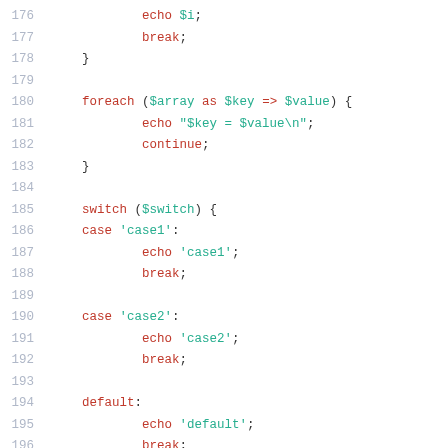[Figure (screenshot): PHP code snippet showing lines 176-198 with syntax highlighting. Lines include: echo $i; break; closing brace; foreach loop with $array as $key => $value; echo string; continue; closing brace; switch statement on $switch; case 'case1' with echo and break; case 'case2' with echo and break; default with echo and break; closing brace.]